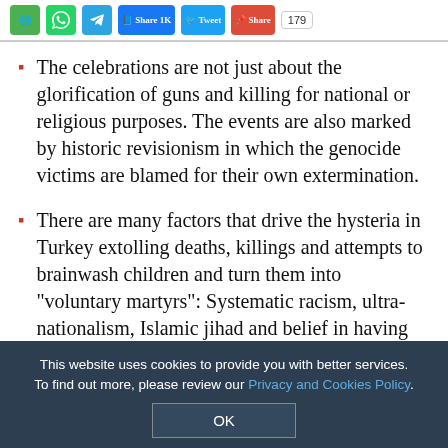Share buttons bar: WhatsApp, Telegram, Facebook Share 1K, Tweet, Share, 179
The celebrations are not just about the glorification of guns and killing for national or religious purposes. The events are also marked by historic revisionism in which the genocide victims are blamed for their own extermination.
There are many factors that drive the hysteria in Turkey extolling deaths, killings and attempts to brainwash children and turn them into "voluntary martyrs": Systematic racism, ultra-nationalism, Islamic jihad and belief in having waged it.
The 2015 "Islam Law" of Austria, which
This website uses cookies to provide you with better services. To find out more, please review our Privacy and Cookies Policy.
OK